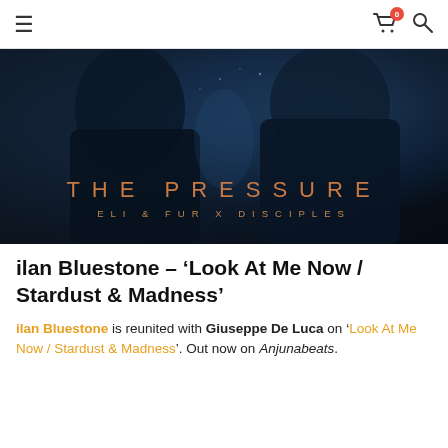≡  [cart: 0]  🔍
[Figure (photo): Album cover artwork for 'The Pressure' by Eli & Fur x Disciples. Dark underwater-style image of two figures in black, with golden/copper text reading 'THE PRESSURE' and 'ELI & FUR X DISCIPLES' overlaid.]
ilan Bluestone – 'Look At Me Now / Stardust & Madness'
ilan Bluestone is reunited with Giuseppe De Luca on 'Look At Me Now / Stardust & Madness'. Out now on Anjunabeats.